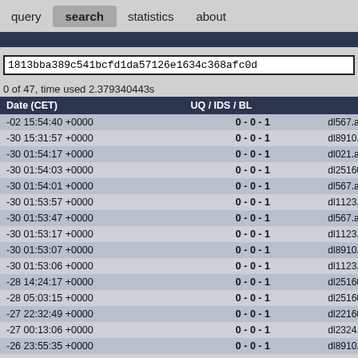query  search  statistics  about
1813bba389c541bcfd1da57126e1634c368afc0d
0 of 47, time used 2.379340443s
| Date (CET) | UQ / IDS / BL |  |
| --- | --- | --- |
| -02 15:54:40 +0000 | 0 - 0 - 1 | dl567.apkawards.com/mod/dl6/com.gameloft.a |
| -30 15:31:57 +0000 | 0 - 0 - 1 | dl8910.apkawards.com/apkmod_apks/dl9/com |
| -30 01:54:17 +0000 | 0 - 0 - 1 | dl021.apkawards.com/apkmod_apks/dl21/com |
| -30 01:54:03 +0000 | 0 - 0 - 1 | dl25160.apkawards.com/apkmod_apks/dl25/co |
| -30 01:54:01 +0000 | 0 - 0 - 1 | dl567.apkawards.com/apkmod_apks/dl6/com.r |
| -30 01:53:57 +0000 | 0 - 0 - 1 | dl1123.apkawards.com/apkmod_apks/dl12/air. |
| -30 01:53:47 +0000 | 0 - 0 - 1 | dl567.apkawards.com/apkmod_apks/dl7/com.a |
| -30 01:53:17 +0000 | 0 - 0 - 1 | dl1123.apkawards.com/apkmod_apks/dl13/com |
| -30 01:53:07 +0000 | 0 - 0 - 1 | dl8910.apkawards.com/apkmod_apks/dl9/com |
| -30 01:53:06 +0000 | 0 - 0 - 1 | dl1123.apkawards.com/apkmod_apks/dl12/net |
| -28 14:24:17 +0000 | 0 - 0 - 1 | dl25160.apkawards.com/APkmod_apks/dl25/c |
| -28 05:03:15 +0000 | 0 - 0 - 1 | dl25160.apkawards.com/APkmod_apks/dl25/c |
| -27 22:32:49 +0000 | 0 - 0 - 1 | dl22160.apkawards.com/mod/dl22/com.sega.s |
| -27 00:13:06 +0000 | 0 - 0 - 1 | dl2324.apkawards.com/mod/dl24/com.rkgame |
| -26 23:55:35 +0000 | 0 - 0 - 1 | dl8910.apkawards.com/mod/dl10/com.wb.goo |